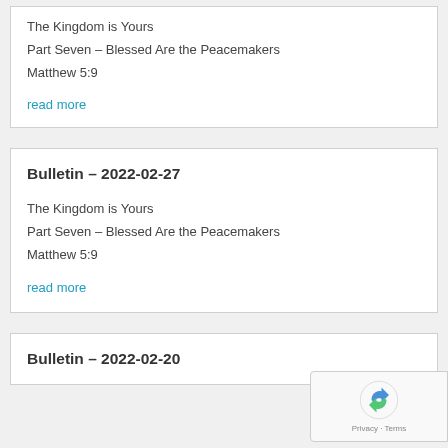The Kingdom is Yours
Part Seven – Blessed Are the Peacemakers
Matthew 5:9
read more
Bulletin – 2022-02-27
The Kingdom is Yours
Part Seven – Blessed Are the Peacemakers
Matthew 5:9
read more
Bulletin – 2022-02-20